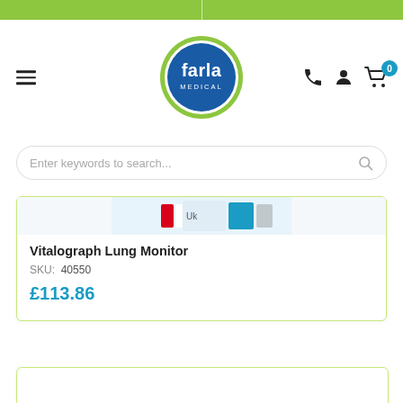[Figure (logo): Farla Medical logo: green circle border with blue background, white text 'farla MEDICAL']
Enter keywords to search...
[Figure (photo): Partial product image showing coloured label strip — red, white, teal blue — for the Vitalograph Lung Monitor]
Vitalograph Lung Monitor
SKU: 40550
£113.86